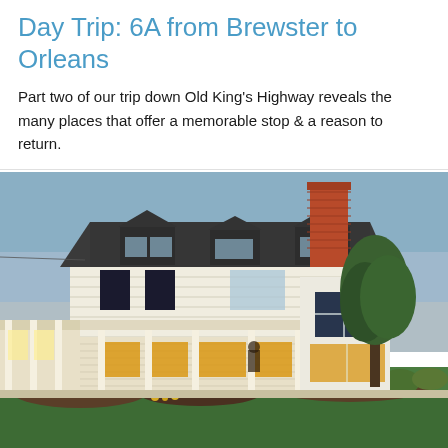Day Trip: 6A from Brewster to Orleans
Part two of our trip down Old King's Highway reveals the many places that offer a memorable stop & a reason to return.
[Figure (photo): Exterior photograph of a large historic white New England style house with a prominent red brick chimney, mansard/gambrel roof with dark shingles and dormers, wrap-around porch with columns, large windows glowing with warm light at dusk, surrounded by manicured green lawn and garden plantings in the foreground, trees on the right side, blue-grey sky in the background.]